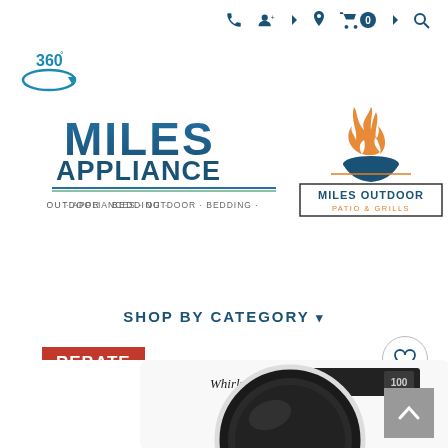[Figure (screenshot): Website top navigation bar with phone icon, user icon, location pin, cart with 0 badge, and search icon in dark teal color]
[Figure (logo): 360 degree rotating badge icon in teal/blue]
[Figure (logo): Miles Appliance logo — blue gradient MILES text over APPLIANCE subtext with tagline APPLIANCES · OUTDOOR · BEDDING below a decorative line]
[Figure (logo): Miles Outdoor Patio & Grills logo — bordered rectangle with flame/bowl icon above text MILES OUTDOOR PATIO & GRILLS in teal and orange]
SHOP BY CATEGORY ▾
[Figure (photo): Whirlpool front-load washing machine or dryer in white with black circular door, control panel at top showing display reading 100, REBATE badge overlay at top-left, heart/wishlist icon circle at top-right]